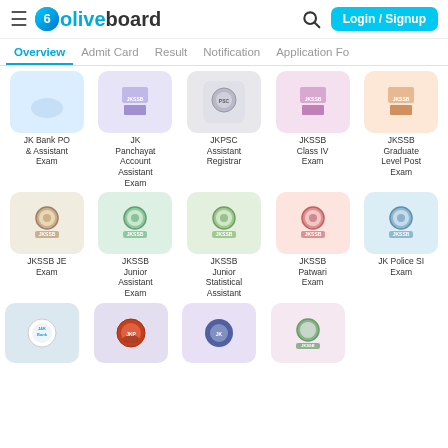oliveboard — Login / Signup
Overview
Admit Card
Result
Notification
Application Fo
[Figure (screenshot): Grid of exam cards: JK Bank PO & Assistant Exam, JK Panchayat Account Assistant Exam, JKPSC Assistant Registrar, JKSSB Class IV Exam, JKSSB Graduate Level Post Exam, JKSSB JE Exam, JKSSB Junior Assistant Exam, JKSSB Junior Statistical Assistant, JKSSB Patwari Exam, JK Police SI Exam, and partial bottom row cards]